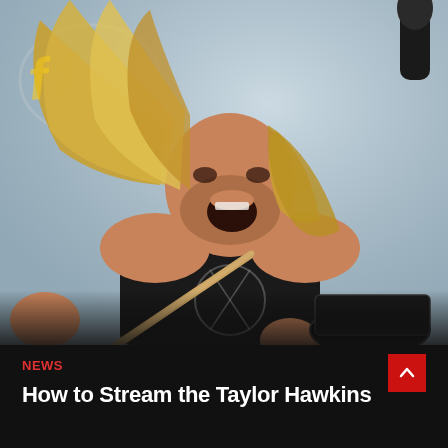[Figure (photo): Taylor Hawkins, long-haired drummer with blond hair flying, playing drums energetically with mouth open singing/shouting, holding drumsticks, wearing black sleeveless shirt with graphic design, performing on stage with microphone and drum kit visible, Foo Fighters logo visible in background]
NEWS
How to Stream the Taylor Hawkins Tribute Concerts Online for free